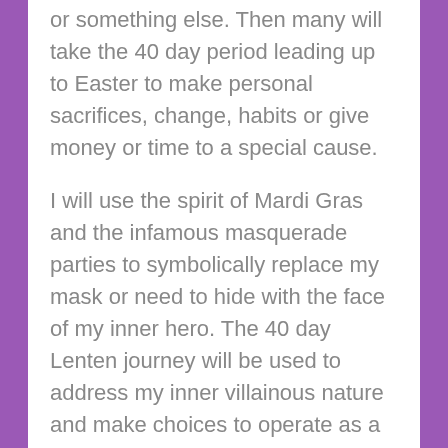or something else.  Then many will take the 40 day period leading up to Easter to make personal sacrifices, change, habits or give money or time to a special cause.
I will use the spirit of Mardi Gras and the infamous masquerade parties to symbolically replace my mask or need to hide with the face of my inner hero.  The 40 day Lenten journey will be used to address my inner villainous nature and make choices to operate as a real life hero.  This will also be a time to assess the tools I have gained